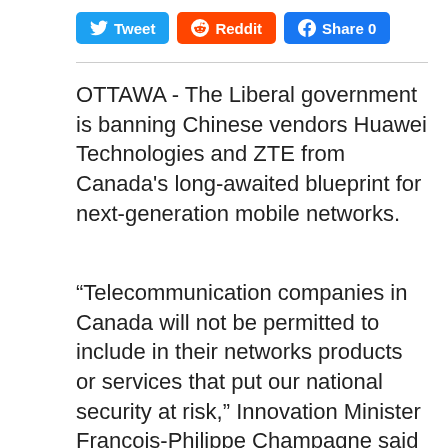[Figure (other): Social sharing buttons: Tweet (Twitter), Reddit, Share 0 (Facebook)]
OTTAWA - The Liberal government is banning Chinese vendors Huawei Technologies and ZTE from Canada's long-awaited blueprint for next-generation mobile networks.
“Telecommunication companies in Canada will not be permitted to include in their networks products or services that put our national security at risk,” Innovation Minister Francois-Philippe Champagne said Thursday in Ottawa.